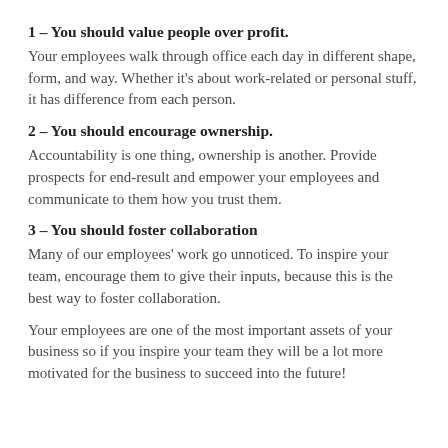1 – You should value people over profit.
Your employees walk through office each day in different shape, form, and way. Whether it's about work-related or personal stuff, it has difference from each person.
2 – You should encourage ownership.
Accountability is one thing, ownership is another. Provide prospects for end-result and empower your employees and communicate to them how you trust them.
3 – You should foster collaboration
Many of our employees' work go unnoticed. To inspire your team, encourage them to give their inputs, because this is the best way to foster collaboration.
Your employees are one of the most important assets of your business so if you inspire your team they will be a lot more motivated for the business to succeed into the future!